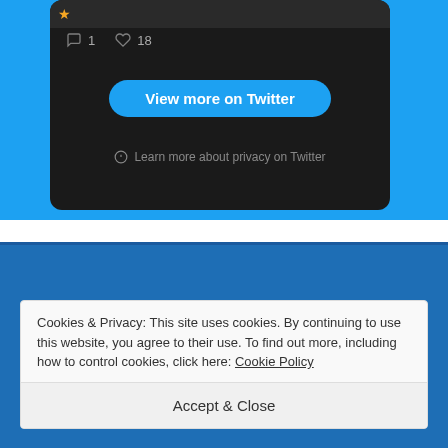[Figure (screenshot): Twitter embedded post card on blue background showing metrics (1 comment, 18 likes), a 'View more on Twitter' button, and 'Learn more about privacy on Twitter' link]
View more on Twitter
Learn more about privacy on Twitter
Idiots on Instagram
Cookies & Privacy: This site uses cookies. By continuing to use this website, you agree to their use. To find out more, including how to control cookies, click here: Cookie Policy
Accept & Close